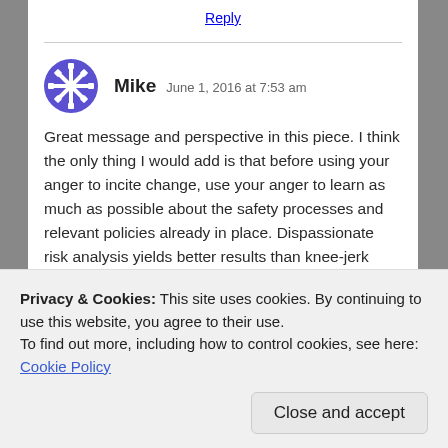Reply
Mike  June 1, 2016 at 7:53 am
Great message and perspective in this piece. I think the only thing I would add is that before using your anger to incite change, use your anger to learn as much as possible about the safety processes and relevant policies already in place. Dispassionate risk analysis yields better results than knee-jerk reactions, especially to high severity, low probability events.
Privacy & Cookies: This site uses cookies. By continuing to use this website, you agree to their use.
To find out more, including how to control cookies, see here: Cookie Policy